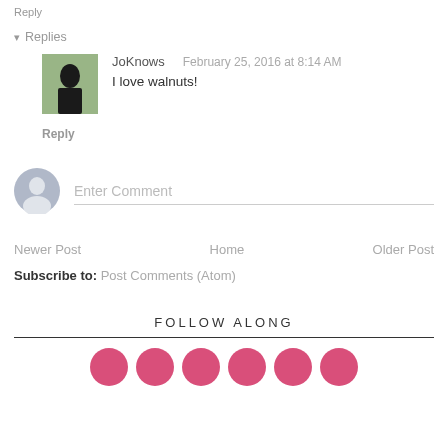Reply
▾ Replies
JoKnows   February 25, 2016 at 8:14 AM
I love walnuts!
Reply
[Figure (other): Generic user avatar placeholder circle with silhouette]
Enter Comment
Newer Post
Home
Older Post
Subscribe to: Post Comments (Atom)
FOLLOW ALONG
[Figure (other): Row of pink/rose circular social media icons]